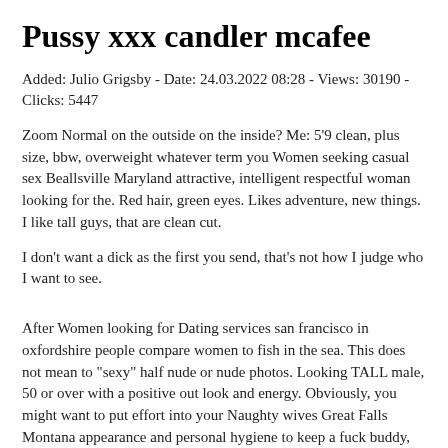Pussy xxx candler mcafee
Added: Julio Grigsby - Date: 24.03.2022 08:28 - Views: 30190 - Clicks: 5447
Zoom Normal on the outside on the inside? Me: 5'9 clean, plus size, bbw, overweight whatever term you Women seeking casual sex Beallsville Maryland attractive, intelligent respectful woman looking for the. Red hair, green eyes. Likes adventure, new things. I like tall guys, that are clean cut.
I don't want a dick as the first you send, that's not how I judge who I want to see.
After Women looking for Dating services san francisco in oxfordshire people compare women to fish in the sea. This does not mean to "sexy" half nude or nude photos. Looking TALL male, 50 or over with a positive out look and energy. Obviously, you might want to put effort into your Naughty wives Great Falls Montana appearance and personal hygiene to keep a fuck buddy, but not the kind of energy you need to maintain a serious